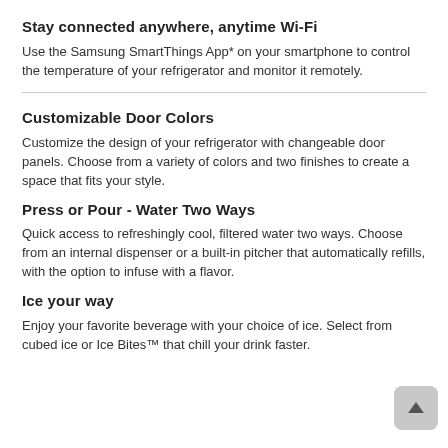Stay connected anywhere, anytime Wi-Fi
Use the Samsung SmartThings App* on your smartphone to control the temperature of your refrigerator and monitor it remotely.
Customizable Door Colors
Customize the design of your refrigerator with changeable door panels. Choose from a variety of colors and two finishes to create a space that fits your style.
Press or Pour - Water Two Ways
Quick access to refreshingly cool, filtered water two ways. Choose from an internal dispenser or a built-in pitcher that automatically refills, with the option to infuse with a flavor.
Ice your way
Enjoy your favorite beverage with your choice of ice. Select from cubed ice or Ice Bites™ that chill your drink faster.